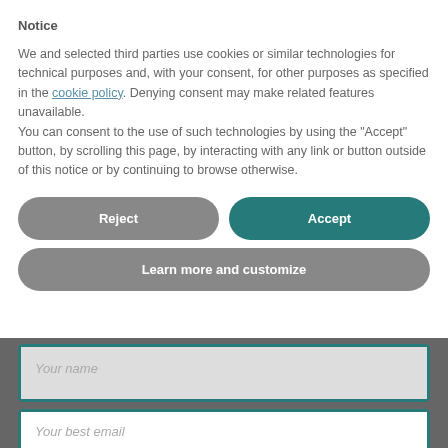Notice
We and selected third parties use cookies or similar technologies for technical purposes and, with your consent, for other purposes as specified in the cookie policy. Denying consent may make related features unavailable.
You can consent to the use of such technologies by using the "Accept" button, by scrolling this page, by interacting with any link or button outside of this notice or by continuing to browse otherwise.
[Figure (screenshot): Cookie consent dialog with Reject and Accept buttons side by side, and a Learn more and customize button below]
[Figure (screenshot): Form fields for 'Your name' and 'Your best email' partially visible at the bottom of the page]